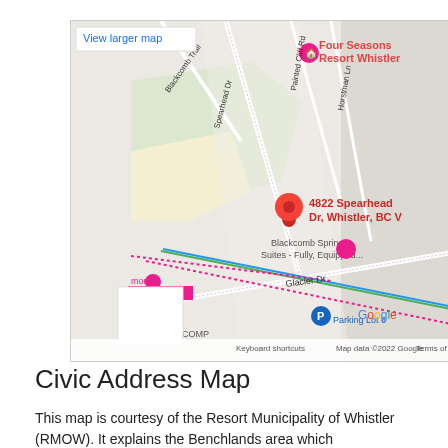[Figure (map): Google Maps screenshot showing 4822 Spearhead Dr, Whistler, BC with a red pin marker. Nearby landmarks include Four Seasons Resort Whistler, Blackcomb Springs Suites - Fully Equipped, and Glacier Dr. Map shows road names: Blackcomb Trail, Spearhead Dr, Painted Cliff Rd, Horstman Ln. Dotted pink route line visible. Google logo and attribution at bottom.]
Civic Address Map
This map is courtesy of the Resort Municipality of Whistler (RMOW). It explains the Benchlands area which